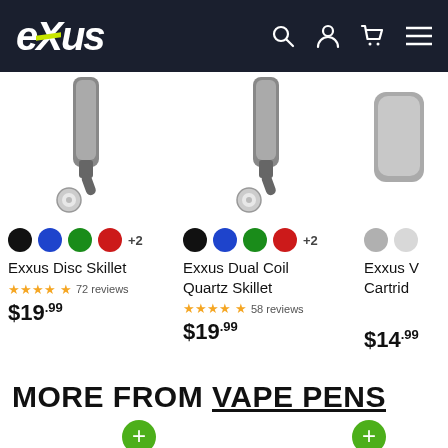[Figure (screenshot): Exxus brand navigation header with logo on left and search, account, cart, and menu icons on right, dark navy background]
[Figure (photo): Exxus Disc Skillet vape product image showing a small pen-style device, grayscale]
Exxus Disc Skillet
★★★★★ 72 reviews
$19.99
[Figure (photo): Exxus Dual Coil Quartz Skillet vape product image showing a small pen-style device, grayscale]
Exxus Dual Coil Quartz Skillet
★★★★★ 58 reviews
$19.99
[Figure (photo): Partial view of Exxus Vape Cartridge product, cut off on right edge]
$14.99
MORE FROM VAPE PENS